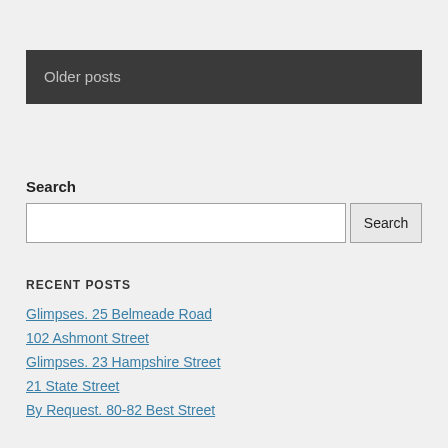Older posts
Search
RECENT POSTS
Glimpses. 25 Belmeade Road
102 Ashmont Street
Glimpses. 23 Hampshire Street
21 State Street
By Request. 80-82 Best Street